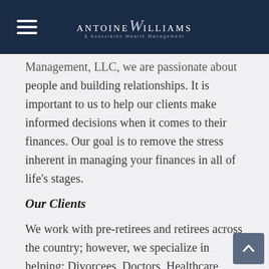Antoine Williams & Associates Wealth Management
Management, LLC, we are passionate about people and building relationships. It is important to us to help our clients make informed decisions when it comes to their finances. Our goal is to remove the stress inherent in managing your finances in all of life's stages.
Our Clients
We work with pre-retirees and retirees across the country; however, we specialize in helping: Divorcees, Doctors, Healthcare